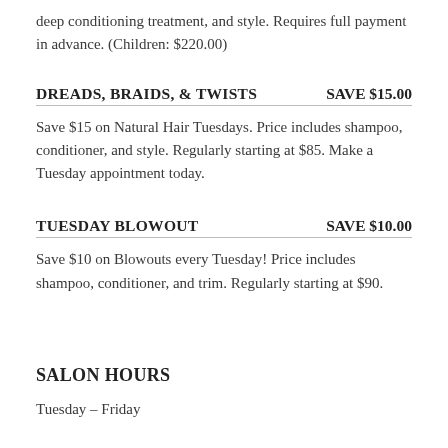deep conditioning treatment, and style. Requires full payment in advance. (Children: $220.00)
DREADS, BRAIDS, & TWISTS    SAVE $15.00
Save $15 on Natural Hair Tuesdays. Price includes shampoo, conditioner, and style. Regularly starting at $85. Make a Tuesday appointment today.
TUESDAY BLOWOUT    SAVE $10.00
Save $10 on Blowouts every Tuesday! Price includes shampoo, conditioner, and trim. Regularly starting at $90.
SALON HOURS
Tuesday – Friday